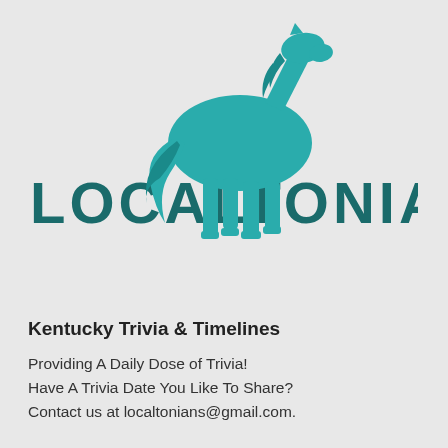[Figure (logo): Teal/turquoise silhouette of a standing horse above the word LOCALTONIANS in large dark teal bold uppercase letters]
Kentucky Trivia & Timelines
Providing A Daily Dose of Trivia!
Have A Trivia Date You Like To Share?
Contact us at localtonians@gmail.com.